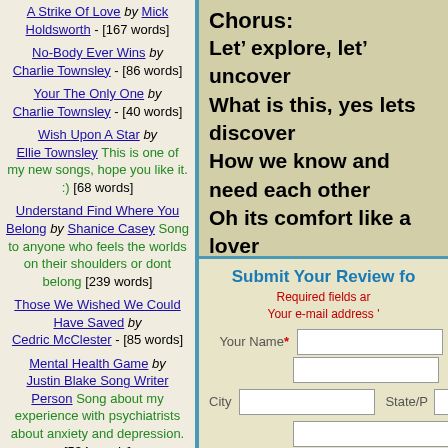A Strike Of Love by Mick Holdsworth - [167 words]
No-Body Ever Wins by Charlie Townsley - [86 words]
Your The Only One by Charlie Townsley - [40 words]
Wish Upon A Star by Ellie Townsley This is one of my new songs, hope you like it. :) [68 words]
Understand Find Where You Belong by Shanice Casey Song to anyone who feels the worlds on their shoulders or dont belong [239 words]
Those We Wished We Could Have Saved by Cedric McClester - [85 words]
Mental Health Game by Justin Blake Song Writer Person Song about my experience with psychiatrists about anxiety and depression. [534 words]
Chorus:
Let’ explore, let’ uncover
What is this, yes lets discover
How we know and need each other
Oh its comfort like a lover
Oh so kiss me, kiss me, let’ see
What is meant to be
Between the familiarity of you and me
Submit Your Review fo
Required fields ar
Your e-mail address'
Your Name*
City
State/P
Your Review (pleas